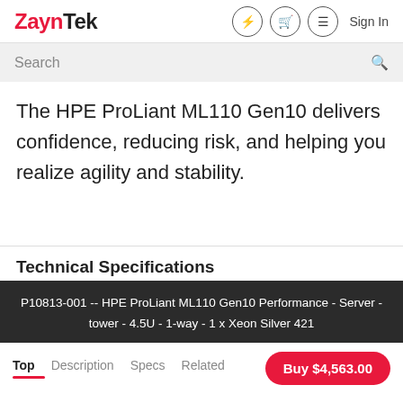ZaynTek — Sign In
The HPE ProLiant ML110 Gen10 delivers confidence, reducing risk, and helping you realize agility and stability.
Technical Specifications
P10813-001 -- HPE ProLiant ML110 Gen10 Performance - Server - tower - 4.5U - 1-way - 1 x Xeon Silver 421
Top  Description  Specs  Related  Buy $4,563.00